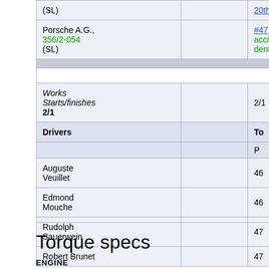| Car/Entry |  | To |
| --- | --- | --- |
| (SL) |  | 20th |
| Porsche A.G., 356/2-054 (SL) |  | #47, acci dent |
| Works Starts/finishes 2/1 |  | 2/1 |
| Drivers |  | To |
|  |  | P |
| Auguste Veuillet |  | 46 |
| Edmond Mouche |  | 46 |
| Rudolph Sauerwein |  | 47 |
| Robert Brunet |  | 47 |
Torque specs
ENGINE